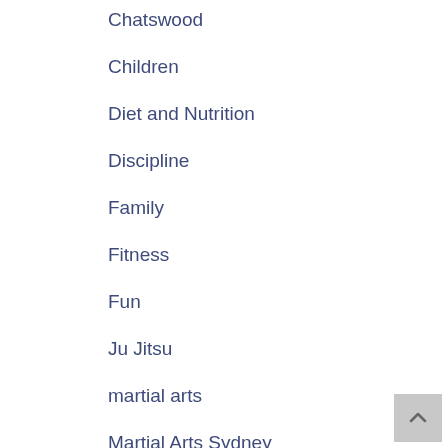Chatswood
Children
Diet and Nutrition
Discipline
Family
Fitness
Fun
Ju Jitsu
martial arts
Martial Arts Sydney
North Sydney
Self Defence
Self Defence Sydney
Sydney